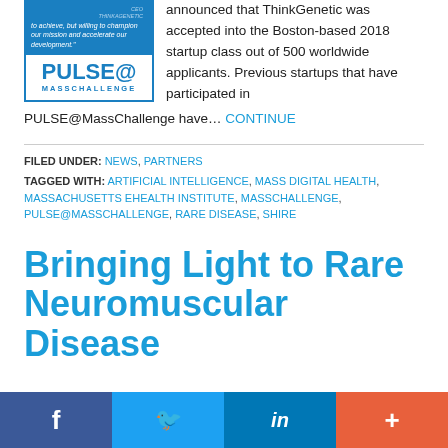[Figure (logo): PULSE@MassChallenge logo with blue background top section containing italic quote text and CEO THINKAGENETIC label, and white bordered box with PULSE@ and MASSCHALLENGE text in blue]
announced that ThinkGenetic was accepted into the Boston-based 2018 startup class out of 500 worldwide applicants. Previous startups that have participated in PULSE@MassChallenge have… CONTINUE
FILED UNDER: NEWS, PARTNERS
TAGGED WITH: ARTIFICIAL INTELLIGENCE, MASS DIGITAL HEALTH, MASSACHUSETTS EHEALTH INSTITUTE, MASSCHALLENGE, PULSE@MASSCHALLENGE, RARE DISEASE, SHIRE
Bringing Light to Rare Neuromuscular Disease
[Figure (other): Social media share bar with Facebook, Twitter, LinkedIn, and plus buttons]